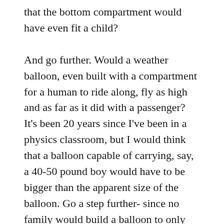that the bottom compartment would have even fit a child?
And go further. Would a weather balloon, even built with a compartment for a human to ride along, fly as high and as far as it did with a passenger? It's been 20 years since I've been in a physics classroom, but I would think that a balloon capable of carrying, say, a 40-50 pound boy would have to be bigger than the apparent size of the balloon. Go a step further- since no family would build a balloon to only carry a child (except for, say, the Addams family), the design would have to consider at least one adult passenger. Think of the size of a hot air balloon, which can hold a few people. Wouldn't